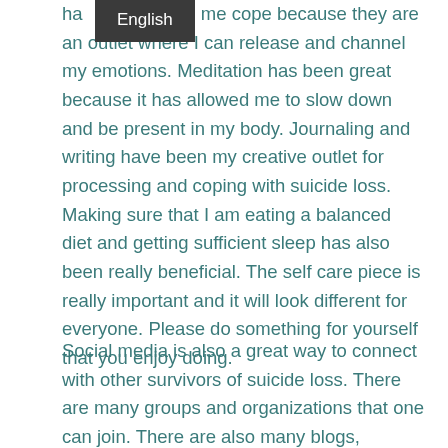ha ped me cope because they are an outlet where I can release and channel my emotions. Meditation has been great because it has allowed me to slow down and be present in my body. Journaling and writing have been my creative outlet for processing and coping with suicide loss. Making sure that I am eating a balanced diet and getting sufficient sleep has also been really beneficial. The self care piece is really important and it will look different for everyone. Please do something for yourself that you enjoy doing.
Social media is also a great way to connect with other survivors of suicide loss. There are many groups and organizations that one can join. There are also many blogs, podcasts and articles on mental health issues that discuss suicide which are great resources.
It has been almost 7 years since my first suicide loss and